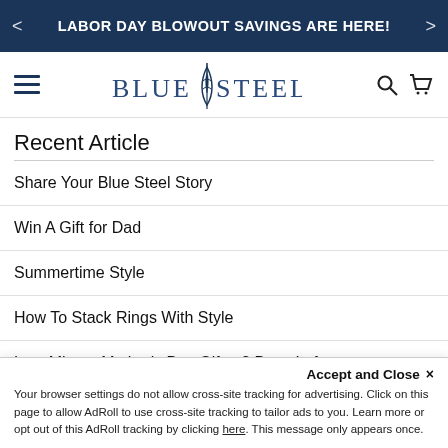LABOR DAY BLOWOUT SAVINGS ARE HERE!
[Figure (logo): Blue Steel brand logo with shield/blade icon between 'BLUE' and 'STEEL' text]
Recent Article
Share Your Blue Steel Story
Win A Gift for Dad
Summertime Style
How To Stack Rings With Style
Last Minute Mother's Day Gifts: 2 Days Left
Accept and Close ✕
Your browser settings do not allow cross-site tracking for advertising. Click on this page to allow AdRoll to use cross-site tracking to tailor ads to you. Learn more or opt out of this AdRoll tracking by clicking here. This message only appears once.